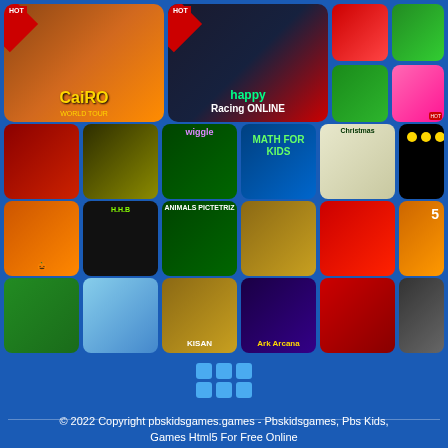[Figure (screenshot): Grid of game thumbnails on a blue background website showing various online games including Cairo World Tour, Happy Racing Online, Super Sort, Hello Kitty, car games, puzzle games, math games, Halloween games, animal games, racing games, truck games, and more. Bottom shows pagination dots and copyright footer.]
© 2022 Copyright pbskidsgames.games - Pbskidsgames, Pbs Kids, Games Html5 For Free Online